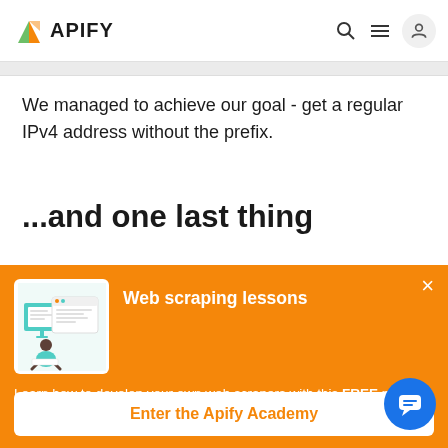APIFY
We managed to achieve our goal - get a regular IPv4 address without the prefix.
...and one last thing
[Figure (screenshot): Apify Academy promotional popup with illustration of person working at computer with web browser windows]
Web scraping lessons
Learn how to develop your own web scrapers with this FREE practical course. Go from beginner to expert.
Enter the Apify Academy